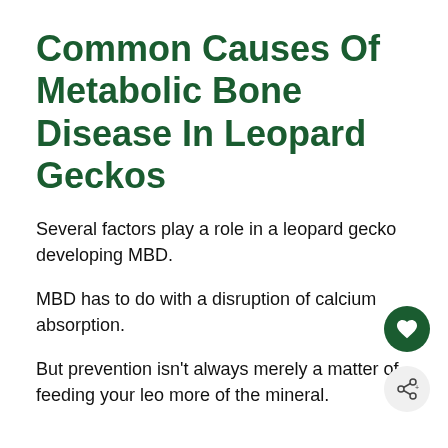Common Causes Of Metabolic Bone Disease In Leopard Geckos
Several factors play a role in a leopard gecko developing MBD.
MBD has to do with a disruption of calcium absorption.
But prevention isn't always merely a matter of feeding your leo more of the mineral.